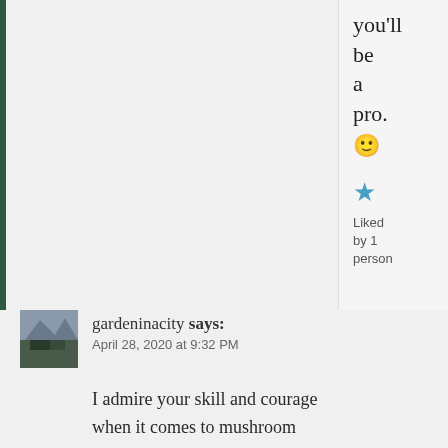you'll be a pro. 🙂
★ Liked by 1 person
Repl
gardeninacity says:
April 28, 2020 at 9:32 PM
I admire your skill and courage when it comes to mushroom hunting. I don't think I would trust myself to pick out the edible from the poisonous. And quite a lot of botanizing you got done along the way!